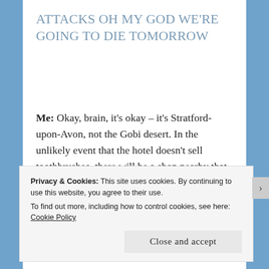ATTACKS OH MY GOD WE'RE GOING TO DIE TOMORROW
Me: Okay, brain, it's okay – it's Stratford-upon-Avon, not the Gobi desert. In the unlikely event that the hotel doesn't sell toothbrushes, there will be a shop nearby that does.
Privacy & Cookies: This site uses cookies. By continuing to use this website, you agree to their use.
To find out more, including how to control cookies, see here: Cookie Policy
Close and accept